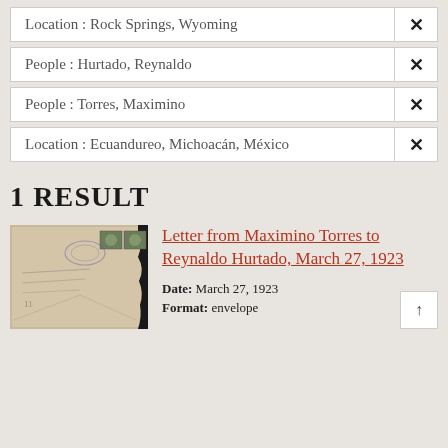Location : Rock Springs, Wyoming ×
People : Hurtado, Reynaldo ×
People : Torres, Maximino ×
Location : Ecuandureo, Michoacán, México ×
1 RESULT
[Figure (photo): Photograph of an old envelope with postage stamps, aged paper]
Letter from Maximino Torres to Reynaldo Hurtado, March 27, 1923
Date: March 27, 1923
Format: envelope